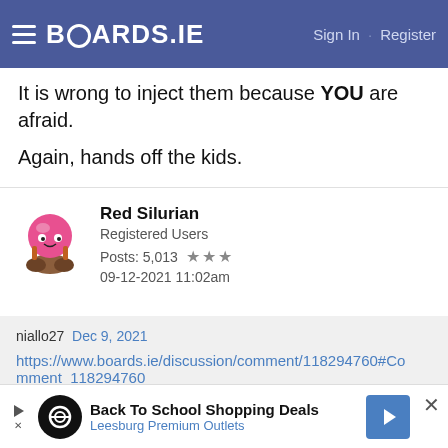BOARDS.IE  Sign In · Register
It is wrong to inject them because YOU are afraid.
Again, hands off the kids.
Red Silurian
Registered Users
Posts: 5,013 ★★★
09-12-2021 11:02am
niallo27  Dec 9, 2021
https://www.boards.ie/discussion/comment/118294760#Comment_118294760
So are we vaccinating the kids to protect the elderly, because this is not the narrative being put across by the experts and the government.
Back To School Shopping Deals
Leesburg Premium Outlets